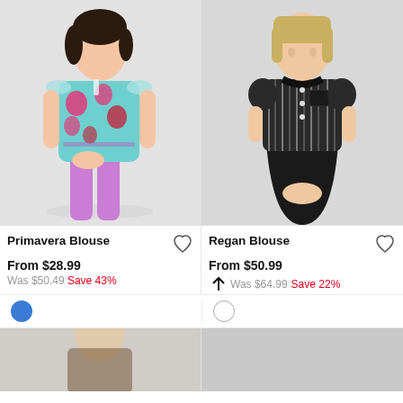[Figure (photo): Woman wearing a turquoise/aqua floral blouse with pink flowers and purple pants, posing on white background]
[Figure (photo): Woman wearing a black and white striped/patterned blouse with black collar and short puffed sleeves, with black skirt, on light background]
Primavera Blouse
Regan Blouse
From $28.99
From $50.99
Was $50.49  Save 43%
Was $64.99  Save 22%
[Figure (photo): Partial bottom image of a model, cropped, showing beginning of another product listing]